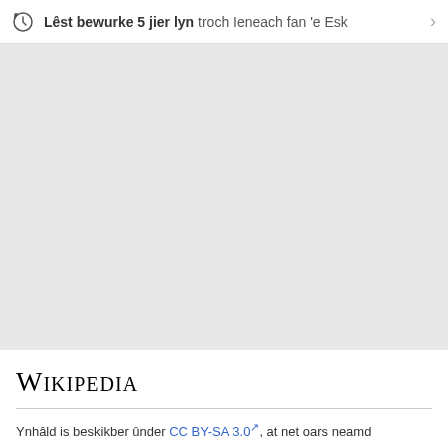Lêst bewurke 5 jier lyn troch Ieneach fan 'e Esk
[Figure (other): Large grey empty content area, representing a blank/loading Wikipedia article body]
Wikipedia
Ynhâld is beskikber ûnder CC BY-SA 3.0, at net oars neamd